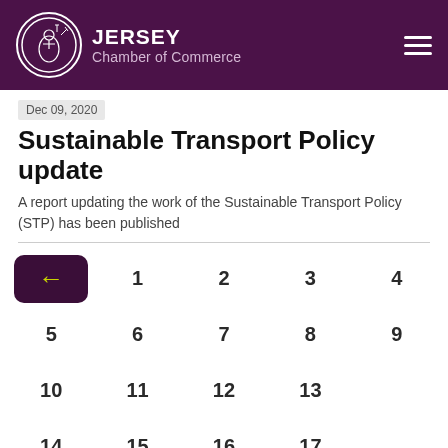Jersey Chamber of Commerce
Dec 09, 2020
Sustainable Transport Policy update
A report updating the work of the Sustainable Transport Policy (STP) has been published
[Figure (other): Calendar navigation widget showing numbered days 1-21+ in a 5-column grid with a back arrow button]